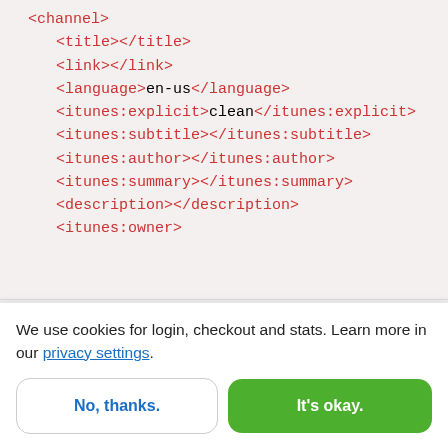<channel>
    <title></title>
    <link></link>
    <language>en-us</language>
    <itunes:explicit>clean</itunes:explicit>
    <itunes:subtitle></itunes:subtitle>
    <itunes:author></itunes:author>
    <itunes:summary></itunes:summary>
    <description></description>
    <itunes:owner>
We use cookies for login, checkout and stats. Learn more in our privacy settings.
No, thanks.
It's okay.